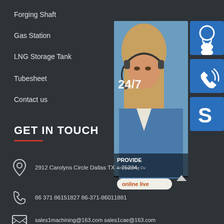Forging Shaft
Gas Station
LNG Storage Tank
Tubesheet
Contact us
[Figure (infographic): Customer service infographic with a woman wearing a headset, 24/7 label, icons for headset support, phone call, and Skype, and an 'online live' button. Text includes 'PROVIDE' and 'Empowering Cu...']
GET IN TOUCH
2912 Carolyns Circle Dallas TX – 75234
86 371 86151827 86-371-86011881
sales1machining@163.com sales1cae@163.com